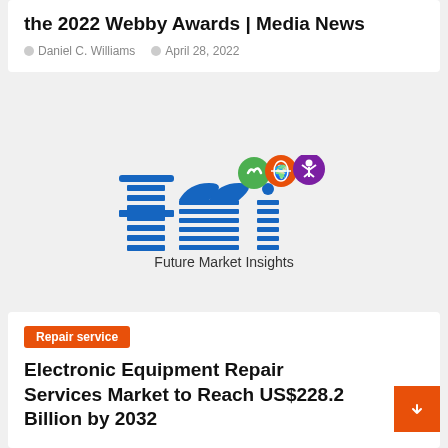the 2022 Webby Awards | Media News
Daniel C. Williams   April 28, 2022
[Figure (logo): Future Market Insights (FMI) company logo — blue striped lettering with green, orange and purple circular icons above]
Repair service
Electronic Equipment Repair Services Market to Reach US$228.2 Billion by 2032